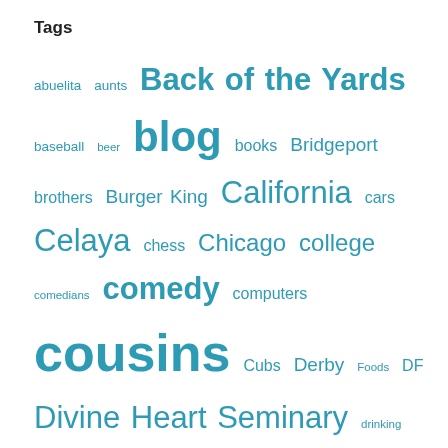Tags
abuelita aunts Back of the Yards baseball beer blog books Bridgeport brothers Burger King California cars Celaya chess Chicago college comedians comedy computers cousins Cubs Derby Foods DF Divine Heart Seminary drinking driving English Enrico Mordini family father food French friends high school Hispanic Holy Cross Illinois Internet iPhone Jerry Jim jokes language Lithuanians Marquette Park Mayor Daley mexicanas Mexico mother movies names newspapers Ph.D. police Polish Pontiac